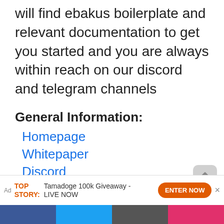will find ebakus boilerplate and relevant documentation to get you started and you are always within reach on our discord and telegram channels
General Information:
Homepage
Whitepaper
Discord
Telegram
Originally published at here
Ad TOP STORY: Tamadoge 100k Giveaway - LIVE NOW ENTER NOW ×